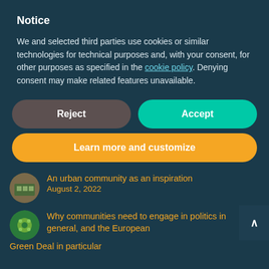Notice
We and selected third parties use cookies or similar technologies for technical purposes and, with your consent, for other purposes as specified in the cookie policy. Denying consent may make related features unavailable.
Reject
Accept
Learn more and customize
An urban community as an inspiration
August 2, 2022
Why communities need to engage in politics in general, and the European Green Deal in particular